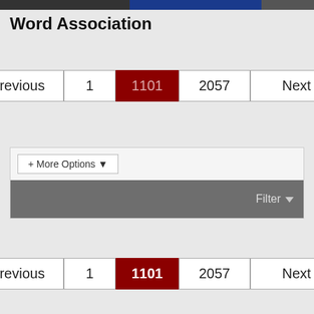Word Association
Previous | 1 | 1101 | 2057 | Next
+ More Options ▾
Filter ▾
Previous | 1 | 1101 | 2057 | Next
66Fury3 • Legendary BangShifter • Join Date: Apr 2009